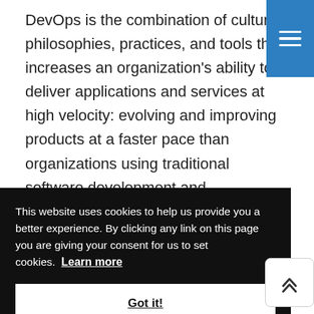DevOps is the combination of cultural philosophies, practices, and tools that increases an organization's ability to deliver applications and services at high velocity: evolving and improving products at a faster pace than organizations using traditional software development and infrastructure
This website uses cookies to help us provide you a better experience. By clicking any link on this page you are giving your consent for us to set cookies.  Learn more
Got it!
AWS CodeDeploy, Coursera Plus